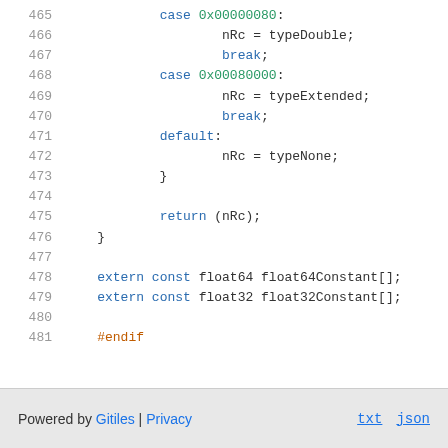Code listing lines 465-481: switch-case block with typeDouble, typeExtended, typeNone returns, extern const declarations, and #endif preprocessor directive
Powered by Gitiles | Privacy    txt  json